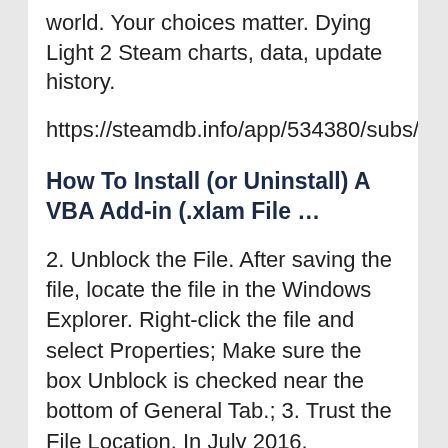world. Your choices matter. Dying Light 2 Steam charts, data, update history.
https://steamdb.info/app/534380/subs/
How To Install (or Uninstall) A VBA Add-in (.xlam File …
2. Unblock the File. After saving the file, locate the file in the Windows Explorer. Right-click the file and select Properties; Make sure the box Unblock is checked near the bottom of General Tab.; 3. Trust the File Location. In July 2016, Microsoft added a security update that requires you to add the